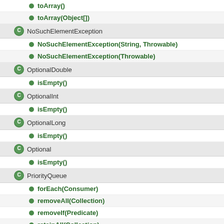toArray()
toArray(Object[])
NoSuchElementException
NoSuchElementException(String, Throwable)
NoSuchElementException(Throwable)
OptionalDouble
isEmpty()
OptionalInt
isEmpty()
OptionalLong
isEmpty()
Optional
isEmpty()
PriorityQueue
forEach(Consumer)
removeAll(Collection)
removeIf(Predicate)
retainAll(Collection)
TreeMap
compute(Object, BiFunction)